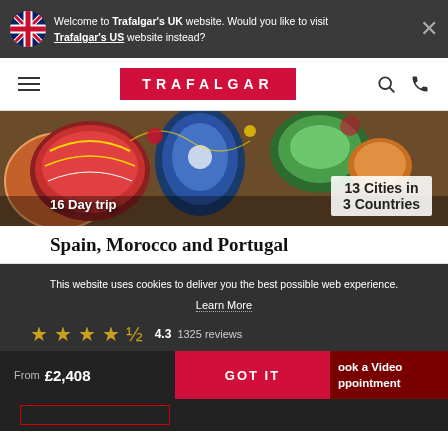Welcome to Trafalgar's UK website. Would you like to visit Trafalgar's US website instead?
[Figure (screenshot): Trafalgar navigation bar with hamburger menu, red TRAFALGAR logo, search and phone icons]
[Figure (photo): Moroccan colorful pottery bowls and plates, hero image for Spain, Morocco and Portugal tour. Shows '16 Day trip' badge and '13 Cities in 3 Countries' info box]
Spain, Morocco and Portugal
This website uses cookies to deliver you the best possible web experience.
Learn More
4.3   1325 reviews
From £2,408
GOT IT
Book a Video Appointment